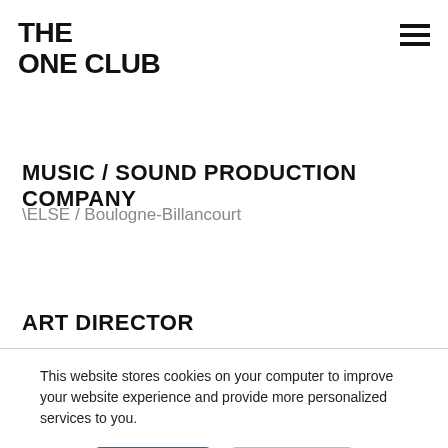THE ONE CLUB
MUSIC / SOUND PRODUCTION COMPANY
\ELSE / Boulogne-Billancourt
ART DIRECTOR
This website stores cookies on your computer to improve your website experience and provide more personalized services to you.